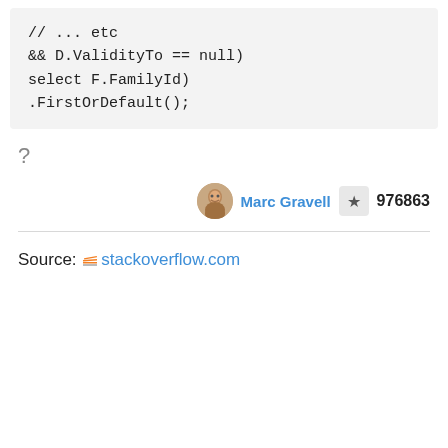// ... etc
&& D.ValidityTo == null)
select F.FamilyId)
.FirstOrDefault();
?
Marc Gravell  976863
Source: stackoverflow.com